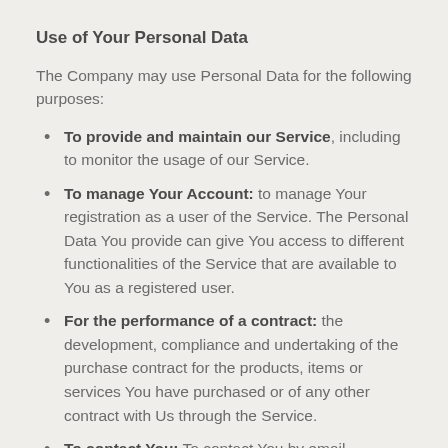Use of Your Personal Data
The Company may use Personal Data for the following purposes:
To provide and maintain our Service, including to monitor the usage of our Service.
To manage Your Account: to manage Your registration as a user of the Service. The Personal Data You provide can give You access to different functionalities of the Service that are available to You as a registered user.
For the performance of a contract: the development, compliance and undertaking of the purchase contract for the products, items or services You have purchased or of any other contract with Us through the Service.
To contact You: To contact You by email, telephone